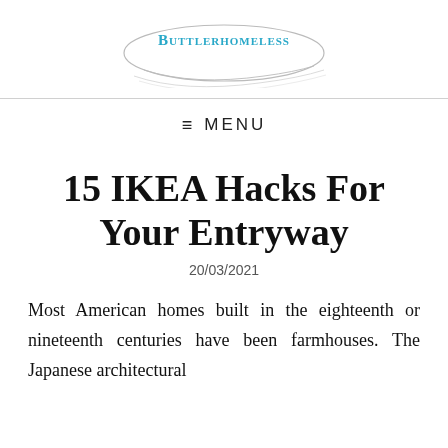BUTTLERHOMELESS
≡ MENU
15 IKEA Hacks For Your Entryway
20/03/2021
Most American homes built in the eighteenth or nineteenth centuries have been farmhouses. The Japanese architectural